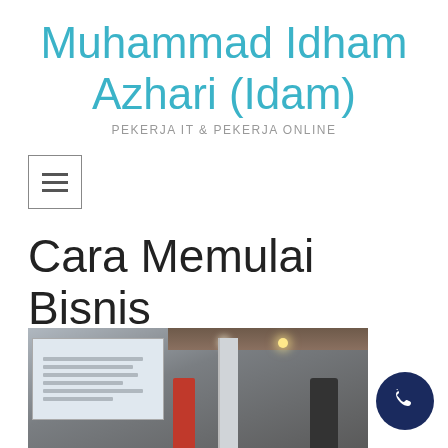Muhammad Idham Azhari (Idam)
PEKERJA IT & PEKERJA ONLINE
[Figure (other): Hamburger/menu button icon inside a square border]
Cara Memulai Bisnis Online Di Papua
[Figure (photo): Photo of a presentation room with a projector screen showing a spreadsheet, ceiling spotlights, a red banner stand, and an air conditioner unit in the background]
[Figure (other): Dark navy circular phone/call button icon in the bottom right corner]